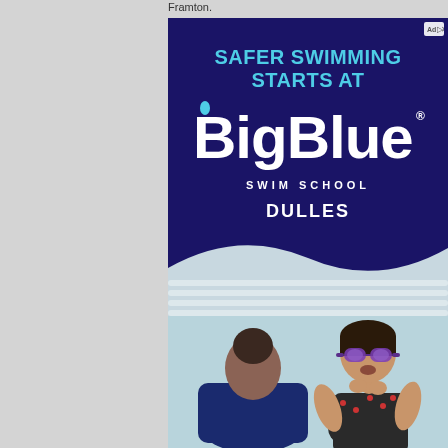Framton.
[Figure (photo): Advertisement for Big Blue Swim School Dulles. Top half shows dark navy blue background with cyan text 'SAFER SWIMMING STARTS AT' and white 'BigBlue SWIM SCHOOL' logo with 'DULLES' below in white bold text. Bottom half shows a photo of a swim instructor (woman with dark hair and glasses, wearing navy blue) facing a young child wearing purple swim goggles in a pool setting.]